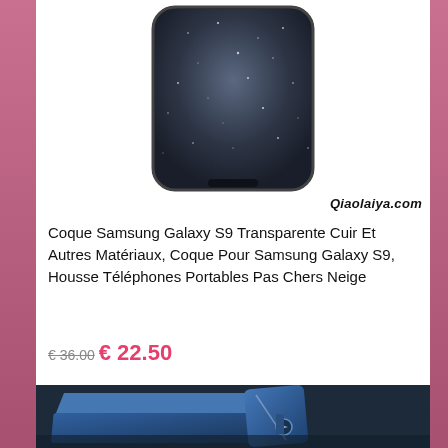[Figure (photo): Product photo of a dark navy/black transparent phone case for Samsung Galaxy S9, shown from the back, with a sparkle/starry night texture pattern.]
Qiaolaiya.com
Coque Samsung Galaxy S9 Transparente Cuir Et Autres Matériaux, Coque Pour Samsung Galaxy S9, Housse Téléphones Portables Pas Chers Neige
€ 36.00€ 22.50
[Figure (photo): Product photo showing a blue smartphone case/stand accessory device, rendered in 3D, showing a phone propped up on a blue stand with a circular button/badge.]